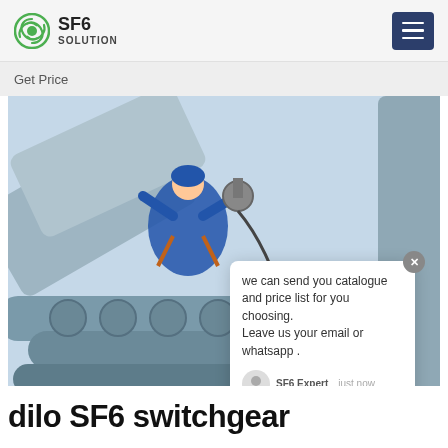SF6 SOLUTION
Get Price
[Figure (photo): Worker in blue overalls and harness working on large industrial pipes/tubes at height, SF6China watermark visible in lower right]
we can send you catalogue and price list for you choosing.
Leave us your email or whatsapp .
SF6 Expert   just now
Write a
dilo SF6 switchgear